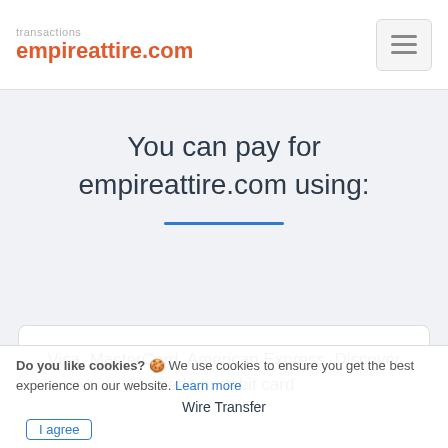transactions
empireattire.com
You can pay for empireattire.com using:
Visa, MasterCard, American Express, Discover credit or debit card
Wire Transfer
Do you like cookies? 🍪 We use cookies to ensure you get the best experience on our website. Learn more   I agree